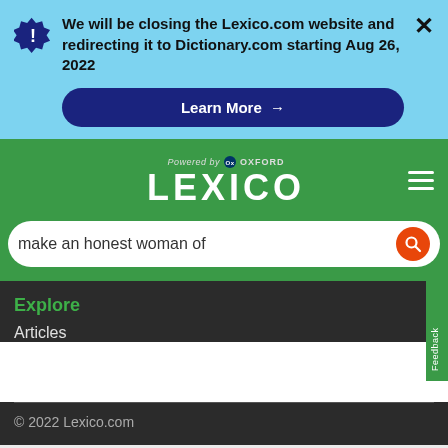We will be closing the Lexico.com website and redirecting it to Dictionary.com starting Aug 26, 2022
Learn More →
[Figure (logo): Lexico logo powered by Oxford on green background with hamburger menu]
make an honest woman of
Explore
Articles
© 2022 Lexico.com
[Figure (infographic): ATD Sales Training Conference advertisement with Open button]